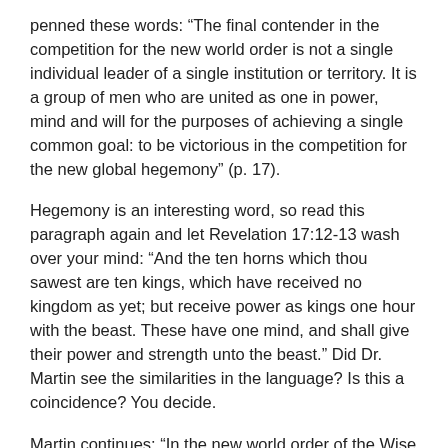penned these words: “The final contender in the competition for the new world order is not a single individual leader of a single institution or territory. It is a group of men who are united as one in power, mind and will for the purposes of achieving a single common goal: to be victorious in the competition for the new global hegemony” (p. 17).
Hegemony is an interesting word, so read this paragraph again and let Revelation 17:12-13 wash over your mind: “And the ten horns which thou sawest are ten kings, which have received no kingdom as yet; but receive power as kings one hour with the beast. These have one mind, and shall give their power and strength unto the beast.” Did Dr. Martin see the similarities in the language? Is this a coincidence? You decide.
Martin continues: “In the new world order of the Wise Men of the West–the most powerful of the Genuine Globalists–the rights and freedoms of the individual would be based on positive law: that is, on laws passed by a majority of those who will be entitled to vote on the various levels of the new rule, however, will be far removed from the ordinary individual … Similarities of public rhetoric, therefore, do more to mask than clarify the profound